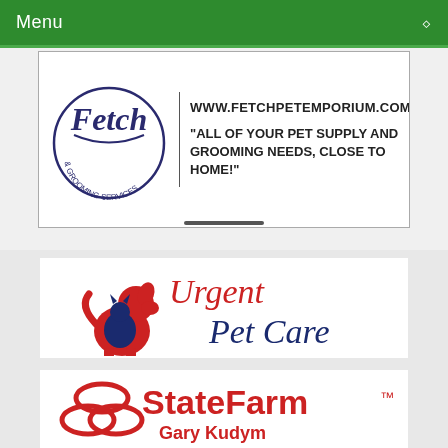Menu
[Figure (logo): Fetch Pet Emporium and Grooming Services logo with text: www.fetchpetemporium.com and tagline 'ALL OF YOUR PET SUPPLY AND GROOMING NEEDS, CLOSE TO HOME!']
[Figure (logo): Urgent Pet Care logo with red dog/cat silhouette and red/navy text]
[Figure (logo): State Farm logo with red ovals icon and red text 'State Farm™' and 'Gary Kudym']